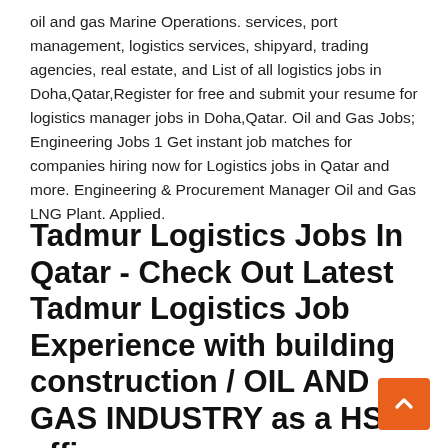oil and gas Marine Operations. services, port management, logistics services, shipyard, trading agencies, real estate, and List of all logistics jobs in Doha,Qatar,Register for free and submit your resume for logistics manager jobs in Doha,Qatar. Oil and Gas Jobs; Engineering Jobs 1 Get instant job matches for companies hiring now for Logistics jobs in Qatar and more. Engineering & Procurement Manager Oil and Gas LNG Plant. Applied.
Tadmur Logistics Jobs In Qatar - Check Out Latest Tadmur Logistics Job Experience with building construction / OIL AND GAS INDUSTRY as a HSE officer